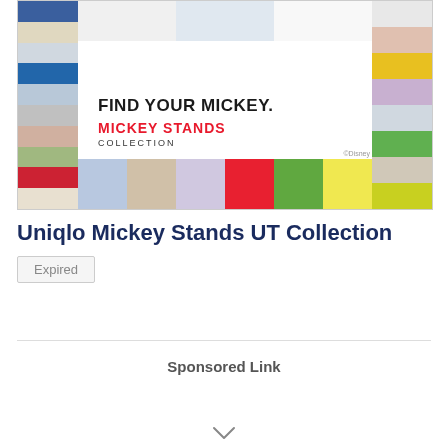[Figure (illustration): Uniqlo Mickey Stands Collection promotional banner showing a grid of colorful Mickey Mouse themed t-shirt design tiles with text FIND YOUR MICKEY. MICKEY STANDS COLLECTION]
Uniqlo Mickey Stands UT Collection
Expired
Sponsored Link